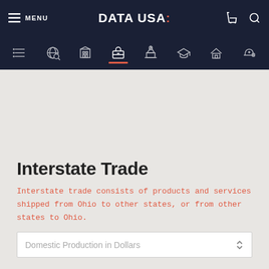MENU | DATA USA: | [cart] [search]
[Figure (screenshot): Navigation icon bar with icons for: list/profile, search/globe, industry/building, occupation/briefcase (active), government/capitol, education/graduation cap, housing/house, health/helmet]
Interstate Trade
Interstate trade consists of products and services shipped from Ohio to other states, or from other states to Ohio.
Domestic Production in Dollars
MOST COMMON TRADE PARTNERS